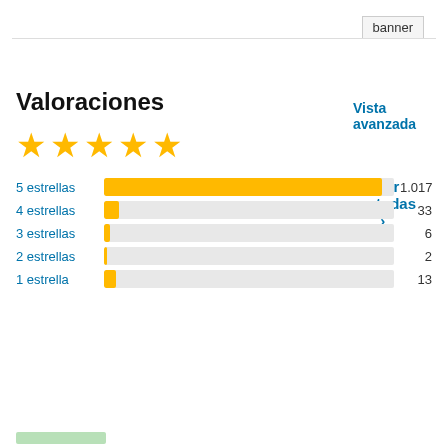banner
Vista avanzada
Valoraciones
Ver todas >
[Figure (other): 5 gold stars rating]
[Figure (bar-chart): Rating distribution]
Accede para enviar una reseña.
Soporte
Problemas resueltos en los últimos dos meses: